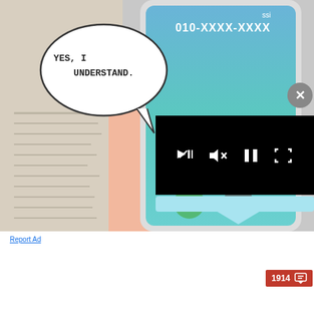[Figure (illustration): Manga/webtoon comic panel showing a hand holding a smartphone with incoming call screen displaying '010-XXXX-XXXX' in blue/teal. A speech bubble reads 'YES, I UNDERSTAND.' A black video player overlay with playback controls (mute, pause, fullscreen) appears on the right side. A gray circle close button with X is in the upper right.]
Report Ad
[Figure (screenshot): Hotels.com advertisement banner with text 'Your next hotel is waiting for you', showing an aerial photo of a city/resort. Bottom bar shows Hotels.com logo and 'BOOK NOW' button in red. Ad has top control icons (play arrow and X). A separate X close button is to the right of the ad.]
1914